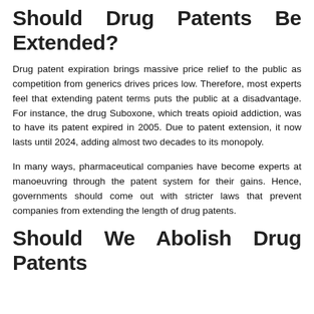Should Drug Patents Be Extended?
Drug patent expiration brings massive price relief to the public as competition from generics drives prices low. Therefore, most experts feel that extending patent terms puts the public at a disadvantage. For instance, the drug Suboxone, which treats opioid addiction, was to have its patent expired in 2005. Due to patent extension, it now lasts until 2024, adding almost two decades to its monopoly.
In many ways, pharmaceutical companies have become experts at manoeuvring through the patent system for their gains. Hence, governments should come out with stricter laws that prevent companies from extending the length of drug patents.
Should We Abolish Drug Patents